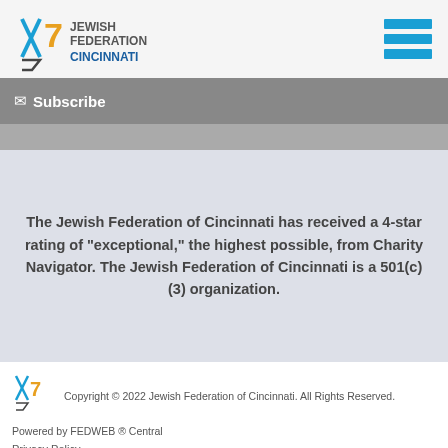Jewish Federation Cincinnati
Subscribe
The Jewish Federation of Cincinnati has received a 4-star rating of "exceptional," the highest possible, from Charity Navigator. The Jewish Federation of Cincinnati is a 501(c)(3) organization.
Copyright © 2022 Jewish Federation of Cincinnati. All Rights Reserved.
Powered by FEDWEB ® Central
Privacy Policy
Terms of Use